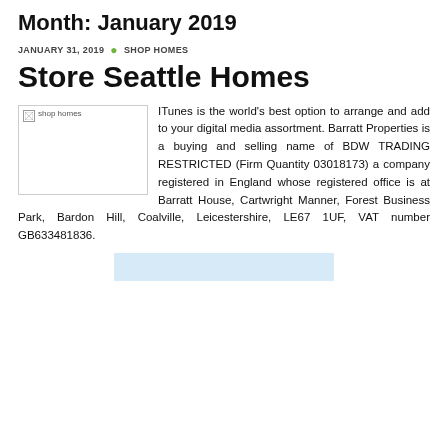Month: January 2019
JANUARY 31, 2019 · SHOP HOMES
Store Seattle Homes
[Figure (photo): shop homes placeholder image]
ITunes is the world's best option to arrange and add to your digital media assortment. Barratt Properties is a buying and selling name of BDW TRADING RESTRICTED (Firm Quantity 03018173) a company registered in England whose registered office is at Barratt House, Cartwright Manner, Forest Business Park, Bardon Hill, Coalville, Leicestershire, LE67 1UF, VAT number GB633481836.
[Figure (photo): blue rectangle image at the bottom]